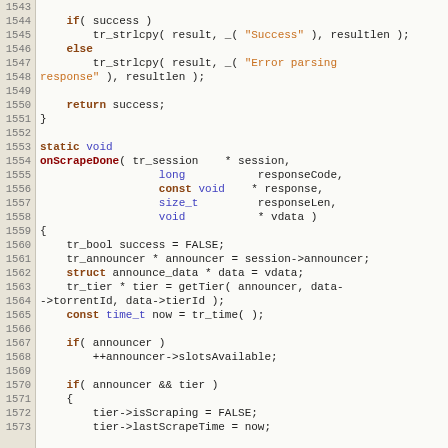[Figure (screenshot): Source code viewer showing C code for onScrapeDone function, lines 1543-1573, with line numbers on left in beige gutter, code on right with syntax highlighting (keywords in brown/bold, types in blue, strings in orange)]